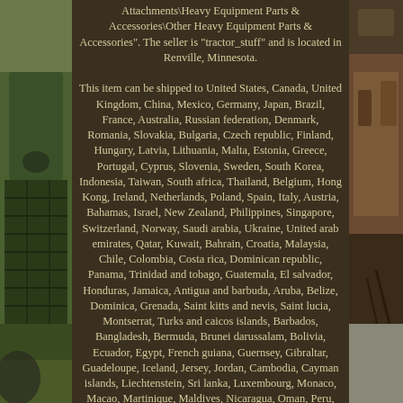[Figure (photo): Left side photo of an old green John Deere tractor with rusty grill, partially visible]
Attachments\Heavy Equipment Parts & Accessories\Other Heavy Equipment Parts & Accessories". The seller is "tractor_stuff" and is located in Renville, Minnesota.

This item can be shipped to United States, Canada, United Kingdom, China, Mexico, Germany, Japan, Brazil, France, Australia, Russian federation, Denmark, Romania, Slovakia, Bulgaria, Czech republic, Finland, Hungary, Latvia, Lithuania, Malta, Estonia, Greece, Portugal, Cyprus, Slovenia, Sweden, South Korea, Indonesia, Taiwan, South africa, Thailand, Belgium, Hong Kong, Ireland, Netherlands, Poland, Spain, Italy, Austria, Bahamas, Israel, New Zealand, Philippines, Singapore, Switzerland, Norway, Saudi arabia, Ukraine, United arab emirates, Qatar, Kuwait, Bahrain, Croatia, Malaysia, Chile, Colombia, Costa rica, Dominican republic, Panama, Trinidad and tobago, Guatemala, El salvador, Honduras, Jamaica, Antigua and barbuda, Aruba, Belize, Dominica, Grenada, Saint kitts and nevis, Saint lucia, Montserrat, Turks and caicos islands, Barbados, Bangladesh, Bermuda, Brunei darussalam, Bolivia, Ecuador, Egypt, French guiana, Guernsey, Gibraltar, Guadeloupe, Iceland, Jersey, Jordan, Cambodia, Cayman islands, Liechtenstein, Sri lanka, Luxembourg, Monaco, Macao, Martinique, Maldives, Nicaragua, Oman, Peru, Pakistan, Paraguay, Reunion, Viet nam, Uruguay. Country/Region of Manufacture: United States MPN: 4576 Brand: K&M Manufacturing Compatible Equipment Make: John Deere Compatible Equipment Type: Tractor
[Figure (photo): Right side photo of old rusty brown farm equipment/tractor seat or attachment, partially visible]